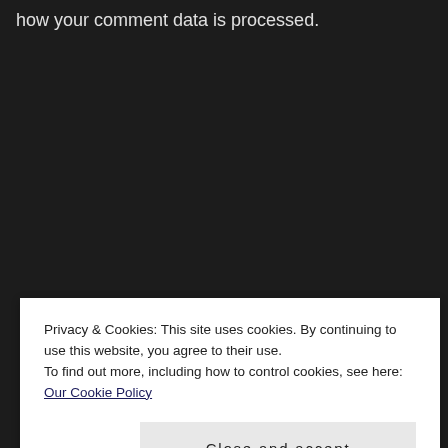how your comment data is processed.
This is me
Privacy & Cookies: This site uses cookies. By continuing to use this website, you agree to their use.
To find out more, including how to control cookies, see here: Our Cookie Policy
Close and accept
[Figure (photo): Partial view of a person in a blue jacket, appearing at the bottom of the page beneath the cookie banner]